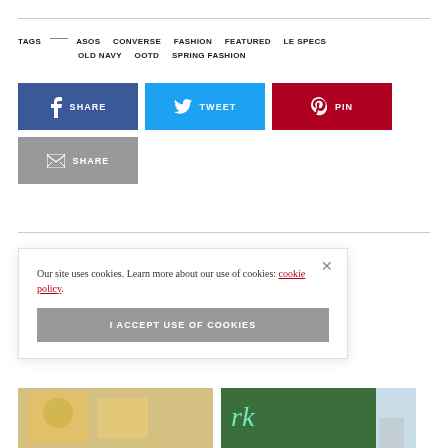TAGS — ASOS  CONVERSE  FASHION  FEATURED  LE SPECS  OLD NAVY  OOTD  SPRING FASHION
[Figure (infographic): Social share buttons: Facebook SHARE (dark blue), Twitter TWEET (light blue), Pinterest PIN (dark red), Email SHARE (gray)]
Our site uses cookies. Learn more about our use of cookies: cookie policy.
I ACCEPT USE OF COOKIES
[Figure (photo): Two photos at bottom: left shows a woman in yellow outfit with flowers, right shows a woman in front of a dark green hedge wall with neon script sign reading 'rk']